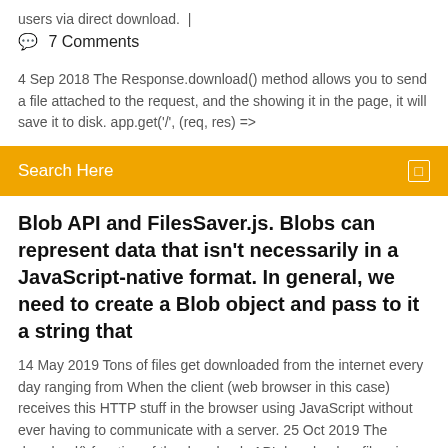users via direct download.  |
💬  7 Comments
4 Sep 2018 The Response.download() method allows you to send a file attached to the request, and the showing it in the page, it will save it to disk. app.get('/', (req, res) =>
Search Here
Blob API and FilesSaver.js. Blobs can represent data that isn't necessarily in a JavaScript-native format. In general, we need to create a Blob object and pass to it a string that
14 May 2019 Tons of files get downloaded from the internet every day ranging from When the client (web browser in this case) receives this HTTP stuff in the browser using JavaScript without ever having to communicate with a server. 25 Oct 2019 The download() function of the downloads API downloads a file, given its createObjectURL() to download data created in